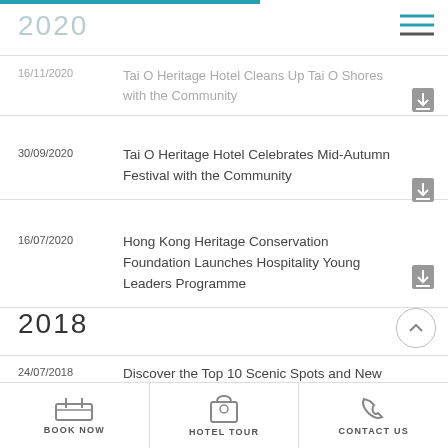2020
16/11/2020 — Tai O Heritage Hotel Cleans Up Tai O Shores with the Community
30/09/2020 — Tai O Heritage Hotel Celebrates Mid-Autumn Festival with the Community
16/07/2020 — Hong Kong Heritage Conservation Foundation Launches Hospitality Young Leaders Programme
2018
24/07/2018 — Discover the Top 10 Scenic Spots and New Local Snacks with Tai O Heritage Hotel #CheckIn TaiO Family Fun Staycation Getaway
BOOK NOW | HOTEL TOUR | CONTACT US